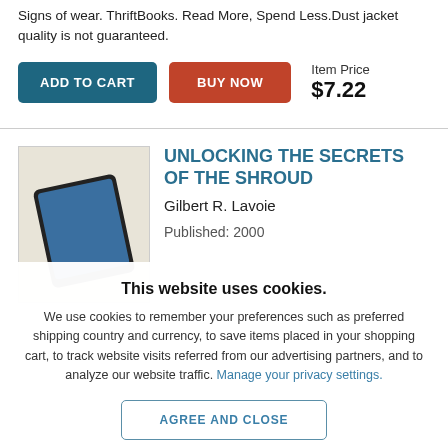Signs of wear. ThriftBooks. Read More, Spend Less. Dust jacket quality is not guaranteed.
Item Price $7.22
[Figure (screenshot): Book cover thumbnail showing a dark rectangular object on a light background]
UNLOCKING THE SECRETS OF THE SHROUD
Gilbert R. Lavoie
Published: 2000
This website uses cookies.
We use cookies to remember your preferences such as preferred shipping country and currency, to save items placed in your shopping cart, to track website visits referred from our advertising partners, and to analyze our website traffic. Manage your privacy settings.
AGREE AND CLOSE